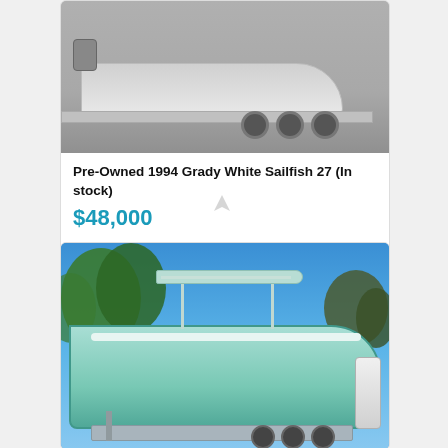[Figure (photo): Photo of a white boat on a triple-axle trailer, sitting on a gravel surface, side view showing the hull and trailer frame]
Pre-Owned 1994 Grady White Sailfish 27 (In stock)
$48,000
[Figure (photo): Photo of a seafoam/mint green center console boat with T-top on a triple-axle trailer, parked in a lot with blue sky and trees in background]